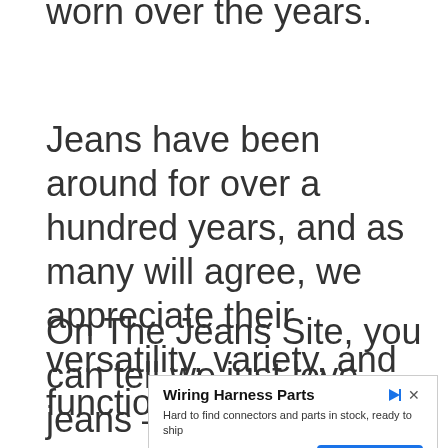worn over the years.
Jeans have been around for over a hundred years, and as many will agree, we appreciate their versatility, variety, and functionality, too.
On The Jeans Site, you can tell we just love jeans – all kinds of jeans.
[Figure (screenshot): Advertisement for Wiring Harness Parts from corsa-technic.com with a 'Learn More' button]